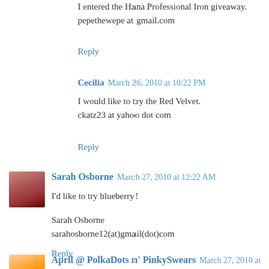I entered the Hana Professional Iron giveaway.
pepethewepe at gmail.com
Reply
Cecilia  March 26, 2010 at 10:22 PM
I would like to try the Red Velvet.
ckatz23 at yahoo dot com
Reply
Sarah Osborne  March 27, 2010 at 12:22 AM
I'd like to try blueberry!

Sarah Osborne
sarahosborne12(at)gmail(dot)com
Reply
April @ PolkaDots n' PinkySwears  March 27, 2010 at 11:18 AM